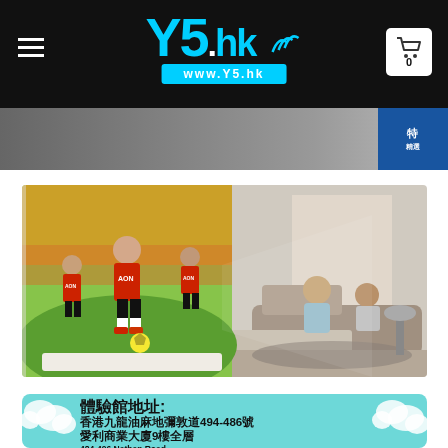Y5.hk — www.Y5.hk — navigation header with cart icon
[Figure (photo): Promotional banner strip at top of content area]
[Figure (photo): Projector lifestyle advertisement showing Manchester United footballers projected on a large screen with a couple watching on a sofa]
[Figure (infographic): Address card with teal background and cloud decorations. Chinese text: 體驗館地址: 香港九龍油麻地彌敦道494-486號 愛利商業大廈9樓全層. English text: 484-486 Nathan Road.]